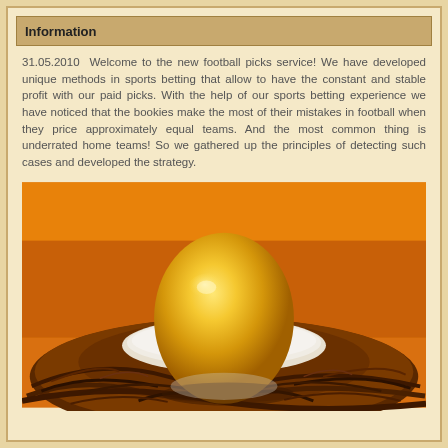Information
31.05.2010  Welcome to the new football picks service! We have developed unique methods in sports betting that allow to have the constant and stable profit with our paid picks. With the help of our sports betting experience we have noticed that the bookies make the most of their mistakes in football when they price approximately equal teams. And the most common thing is underrated home teams! So we gathered up the principles of detecting such cases and developed the strategy.
[Figure (photo): A golden egg sitting in a nest made of twigs and straw, with a warm orange background.]